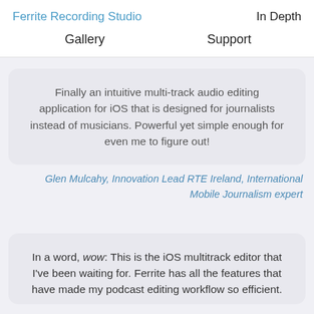Ferrite Recording Studio   In Depth
Gallery   Support
Finally an intuitive multi-track audio editing application for iOS that is designed for journalists instead of musicians. Powerful yet simple enough for even me to figure out!
Glen Mulcahy, Innovation Lead RTE Ireland, International Mobile Journalism expert
In a word, wow: This is the iOS multitrack editor that I've been waiting for. Ferrite has all the features that have made my podcast editing workflow so efficient.